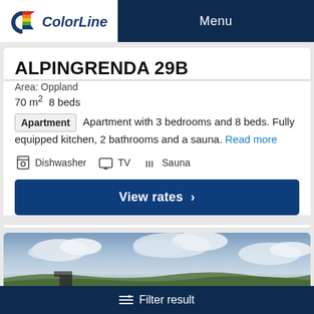Color Line — Menu
ALPINGRENDA 29B
Area: Oppland
70 m² 8 beds
Apartment  Apartment with 3 bedrooms and 8 beds. Fully equipped kitchen, 2 bathrooms and a sauna. Read more
Dishwasher   TV   Sauna
View rates
[Figure (photo): Outdoor landscape photo showing sky with clouds and green hills/mountains]
Filter result